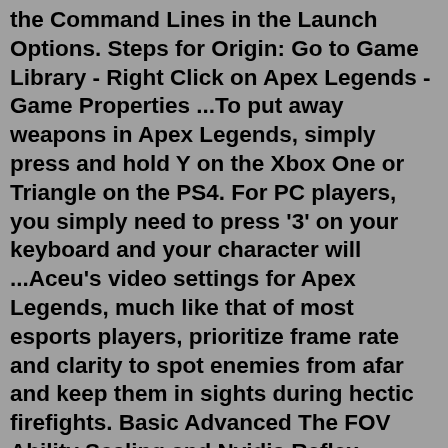the Command Lines in the Launch Options. Steps for Origin: Go to Game Library - Right Click on Apex Legends - Game Properties ...To put away weapons in Apex Legends, simply press and hold Y on the Xbox One or Triangle on the PS4. For PC players, you simply need to press '3' on your keyboard and your character will ...Aceu's video settings for Apex Legends, much like that of most esports players, prioritize frame rate and clarity to spot enemies from afar and keep them in sights during hectic firefights. Basic Advanced The FOV Ability Scaling and Nvidia Reflex settings aceu use in Apex could not be found.Apex Legends is available now on Nintendo Switch, PC, PS4, and Xbox One. MORE: Some Apex Legends Players Want Kraber Removed from Competitive Play Genshin Impact Leaks: Version 3.0 Will Have Three ...But once you master these, you will be giving the opponents a hard time. To get started, find the best curve setting to learn how to super glide. What is Super Glide in Apex Legends. ... How to